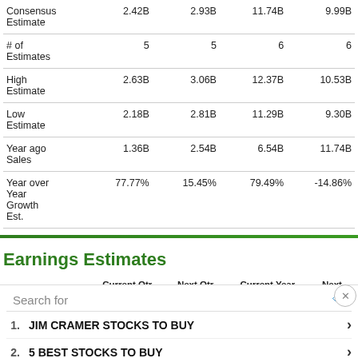|  | Current Qtr (9/2022) | Next Qtr (12/2022) | Current Year (12/2022) | Next (12/2...) |
| --- | --- | --- | --- | --- |
| Consensus Estimate | 2.42B | 2.93B | 11.74B | 9.99B |
| # of Estimates | 5 | 5 | 6 | 6 |
| High Estimate | 2.63B | 3.06B | 12.37B | 10.53B |
| Low Estimate | 2.18B | 2.81B | 11.29B | 9.30B |
| Year ago Sales | 1.36B | 2.54B | 6.54B | 11.74B |
| Year over Year Growth Est. | 77.77% | 15.45% | 79.49% | -14.86% |
Earnings Estimates
|  | Current Qtr (9/2022) | Next Qtr (12/2022) | Current Year (12/2022) | Next (12/2...) |
| --- | --- | --- | --- | --- |
| Zacks Consensus Estimate |  |  |  | 15.79 |
| # of Estimates |  |  |  | 7 |
| Most |  |  |  |  |